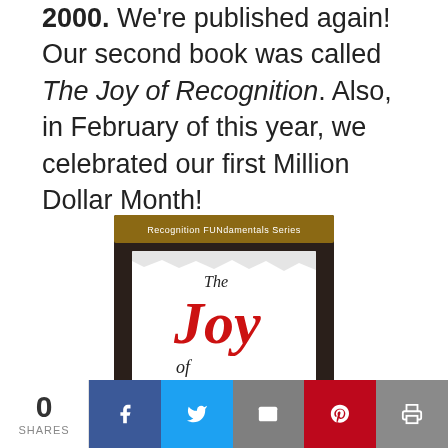2000. We're published again! Our second book was called The Joy of Recognition. Also, in February of this year, we celebrated our first Million Dollar Month!
[Figure (photo): Book cover of 'The Joy of Recognition' from the Recognition FUNdamentals Series, with subtitle 'Designing and Implementing A Successful Recognition Program'. The cover shows a dark background with a white center panel, red script 'Joy' text, and black serif text.]
0 SHARES | Facebook | Twitter | Email | Pinterest | Print